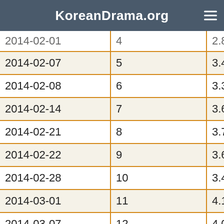KoreanDrama.org
| Date | Episode | Rating |
| --- | --- | --- |
| 2014-02-01 | 4 | 2.8 |
| 2014-02-07 | 5 | 3.4 |
| 2014-02-08 | 6 | 3.3 |
| 2014-02-14 | 7 | 3.6 |
| 2014-02-21 | 8 | 3.7 |
| 2014-02-22 | 9 | 3.6 |
| 2014-02-28 | 10 | 3.4 |
| 2014-03-01 | 11 | 4.1 |
| 2014-03-07 | 12 | 4.0 |
| 2014-03-08 | 13 | 4.1 |
| 2014-03-14 | 14 | 4.2 |
| 2014-03-15 | 15 | 4.1 |
| 2014-03-21 | 16 | 4.0 |
| 2014-03-22 | 17 | 5.0 |
| 2014-03-28 | 18 | 4.1 |
| 2014-03-29 | 19 | 4.8 |